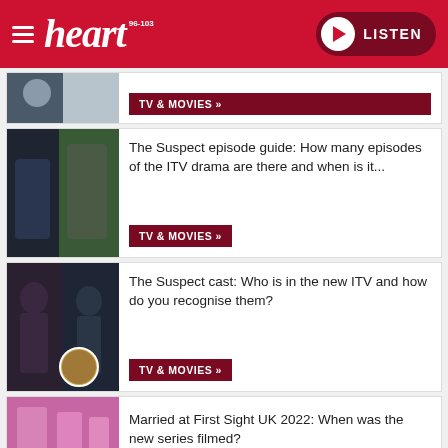heart 96-103 — LISTEN
[Figure (screenshot): Partial article card with TV & MOVIES tag button, showing cropped image on left]
TV & MOVIES »
[Figure (photo): Two men in a dramatic scene - The Suspect ITV drama]
The Suspect episode guide: How many episodes of the ITV drama are there and when is it...
TV & MOVIES »
[Figure (photo): Man and woman with circular inset portrait - The Suspect cast]
The Suspect cast: Who is in the new ITV and how do you recognise them?
TV & MOVIES »
[Figure (photo): Pink/purple scene - Married at First Sight UK 2022]
Married at First Sight UK 2022: When was the new series filmed?